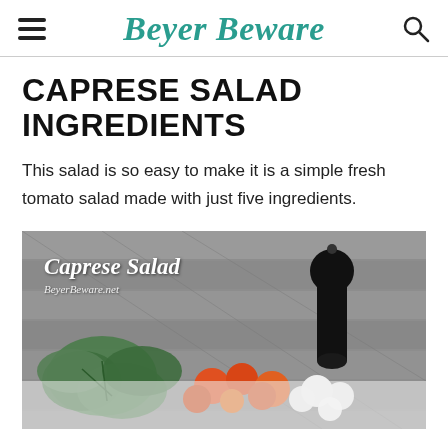Beyer Beware
CAPRESE SALAD INGREDIENTS
This salad is so easy to make it is a simple fresh tomato salad made with just five ingredients.
[Figure (photo): Photo of caprese salad ingredients on a wood deck surface — green basil leaves, orange/red cherry tomatoes, white mozzarella balls, and a dark glass bottle of balsamic dressing. Overlaid white script text reads 'Caprese Salad' with watermark 'BeyerBeware.net'.]